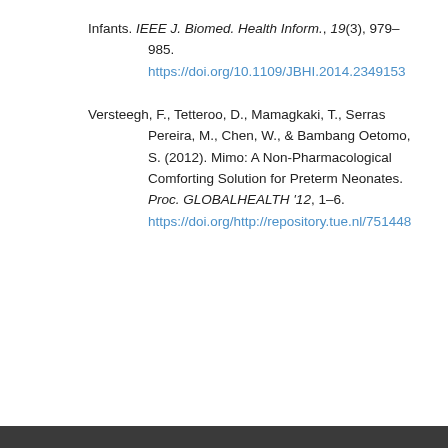Infants. IEEE J. Biomed. Health Inform., 19(3), 979–985. https://doi.org/10.1109/JBHI.2014.2349153
Versteegh, F., Tetteroo, D., Mamagkaki, T., Serras Pereira, M., Chen, W., & Bambang Oetomo, S. (2012). Mimo: A Non-Pharmacological Comforting Solution for Preterm Neonates. Proc. GLOBALHEALTH '12, 1–6. https://doi.org/http://repository.tue.nl/751448